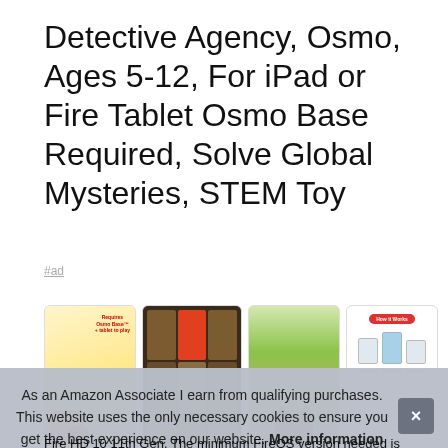Detective Agency, Osmo, Ages 5-12, For iPad or Fire Tablet Osmo Base Required, Solve Global Mysteries, STEM Toy
#ad
[Figure (screenshot): Four product thumbnail images showing the Osmo Detective Agency product from different angles and marketing views]
Osmo [partially obscured] required [partially obscured]
Fire HD 10 11th Gen. The minimum FireOS version needed is
As an Amazon Associate I earn from qualifying purchases. This website uses the only necessary cookies to ensure you get the best experience on our website. More information